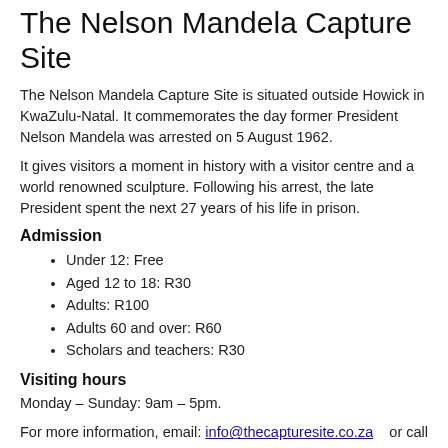The Nelson Mandela Capture Site
The Nelson Mandela Capture Site is situated outside Howick in KwaZulu-Natal. It commemorates the day former President Nelson Mandela was arrested on 5 August 1962.
It gives visitors a moment in history with a visitor centre and a world renowned sculpture. Following his arrest, the late President spent the next 27 years of his life in prison.
Admission
Under 12: Free
Aged 12 to 18: R30
Adults: R100
Adults 60 and over: R60
Scholars and teachers: R30
Visiting hours
Monday – Sunday: 9am – 5pm.
For more information, email: info@thecapturesite.co.za   or call 078 851 8007